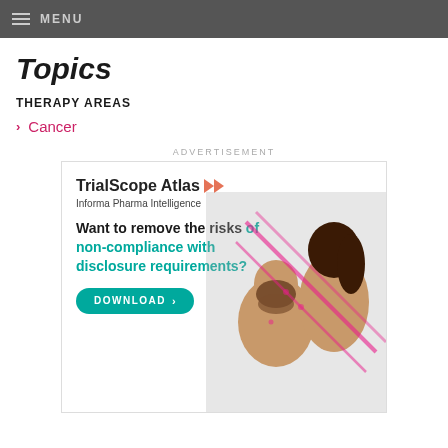MENU
Topics
THERAPY AREAS
Cancer
ADVERTISEMENT
[Figure (illustration): TrialScope Atlas advertisement by Informa Pharma Intelligence. Headline: Want to remove the risks of non-compliance with disclosure requirements? DOWNLOAD button. Photo of two people reviewing information.]